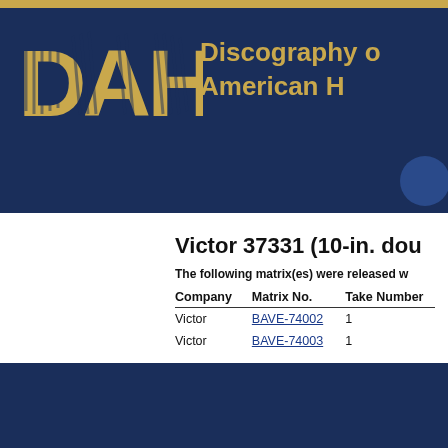DAHR Discography of American Historical Recordings
Victor 37331 (10-in. dou...
The following matrix(es) were released w...
| Company | Matrix No. | Take Number |
| --- | --- | --- |
| Victor | BAVE-74002 | 1 |
| Victor | BAVE-74003 | 1 |
Primary Performers:
Orquesta Adolfo Carabelli (Musical group)